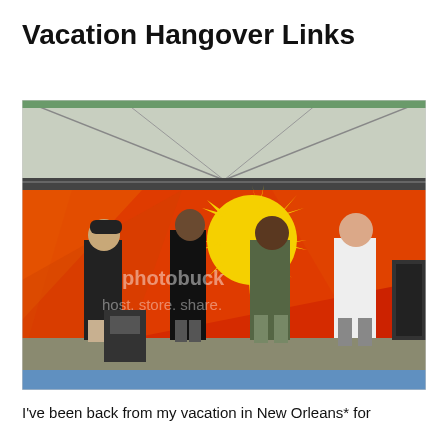Vacation Hangover Links
[Figure (photo): Outdoor stage performance with colorful red/yellow/orange background banner featuring a sun design. Four people standing on stage, one in a black cap and shorts holding a microphone, one in a black outfit, one in a green shirt, and one in a white shirt. Stage equipment and crowd visible. Photobucket watermark overlay present.]
I've been back from my vacation in New Orleans* for